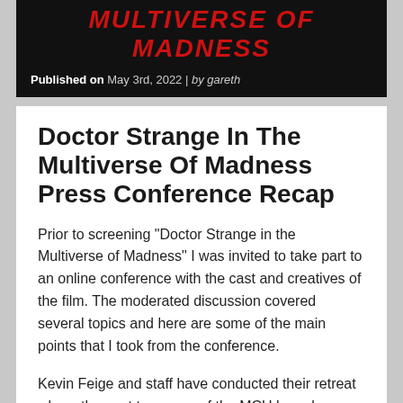[Figure (photo): Dark banner with red title text reading MULTIVERSE OF MADNESS in bold italic uppercase letters]
Published on May 3rd, 2022 | by gareth
Doctor Strange In The Multiverse Of Madness Press Conference Recap
Prior to screening “Doctor Strange in the Multiverse of Madness” I was invited to take part to an online conference with the cast and creatives of the film. The moderated discussion covered several topics and here are some of the main points that I took from the conference.
Kevin Feige and staff have conducted their retreat where the next ten years of the MCU have been planned out.
Director Sam Raimi said that technology has advanced considerably since he did the last Spider-man movie